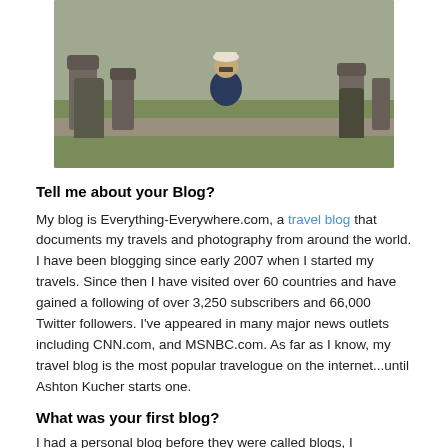[Figure (photo): Man standing in front of Easter Island Moai statues, wearing a white cap and dark jacket, overcast sky]
Tell me about your Blog?
My blog is Everything-Everywhere.com, a travel blog that documents my travels and photography from around the world. I have been blogging since early 2007 when I started my travels. Since then I have visited over 60 countries and have gained a following of over 3,250 subscribers and 66,000 Twitter followers. I've appeared in many major news outlets including CNN.com, and MSNBC.com. As far as I know, my travel blog is the most popular travelogue on the internet...until Ashton Kucher starts one.
What was your first blog?
I had a personal blog before they were called blogs, I